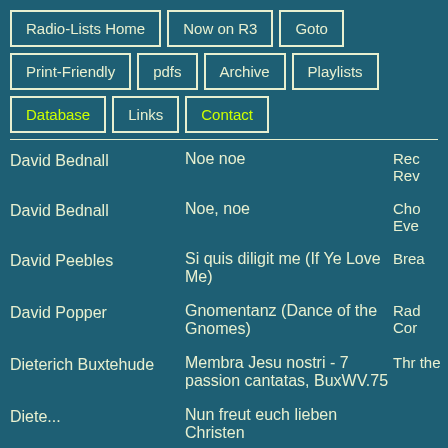Radio-Lists Home
Now on R3
Goto
Print-Friendly
pdfs
Archive
Playlists
Database
Links
Contact
| Composer | Title | Programme |
| --- | --- | --- |
| David Bednall | Noe noe | Rec Rev |
| David Bednall | Noe, noe | Cho Eve |
| David Peebles | Si quis diligit me (If Ye Love Me) | Bre |
| David Popper | Gnomentanz (Dance of the Gnomes) | Rad Cor |
| Dieterich Buxtehude | Membra Jesu nostri - 7 passion cantatas, BuxWV.75 | Thr the |
| Dieterich... | Nun freut euch lieben Christen |  |